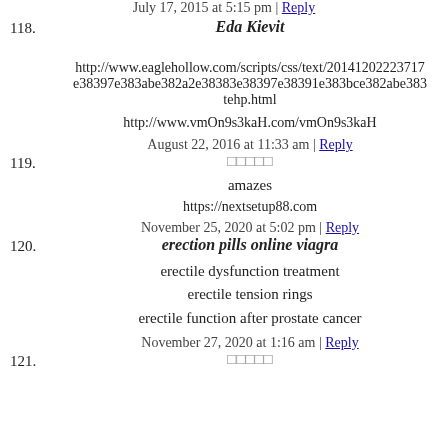July 17, 2015 at 5:15 pm | Reply
118. Eda Kievit
http://www.eaglehollow.com/scripts/css/text/20141202223717e38397e383abe382a2e38383e38397e38391e383bce382abe383tehp.html
http://www.vmOn9s3kaH.com/vmOn9s3kaH
August 22, 2016 at 11:33 am | Reply
119. [Japanese characters]
amazes
https://nextsetup88.com
November 25, 2020 at 5:02 pm | Reply
120. erection pills online viagra
erectile dysfunction treatment
erectile tension rings
erectile function after prostate cancer
November 27, 2020 at 1:16 am | Reply
121. [Japanese characters]